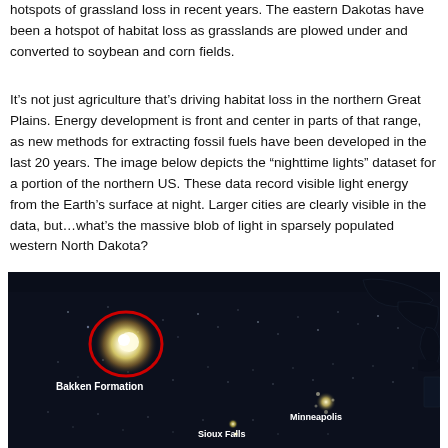hotspots of grassland loss in recent years. The eastern Dakotas have been a hotspot of habitat loss as grasslands are plowed under and converted to soybean and corn fields.
It’s not just agriculture that’s driving habitat loss in the northern Great Plains. Energy development is front and center in parts of that range, as new methods for extracting fossil fuels have been developed in the last 20 years. The image below depicts the “nighttime lights” dataset for a portion of the northern US. These data record visible light energy from the Earth’s surface at night. Larger cities are clearly visible in the data, but…what’s the massive blob of light in sparsely populated western North Dakota?
[Figure (photo): Satellite nighttime lights image of the northern US showing a bright blob of light in western North Dakota labeled 'Bakken Formation' circled in red, with Minneapolis and Sioux Falls also labeled. The Great Lakes are visible as dark shapes in the upper right.]